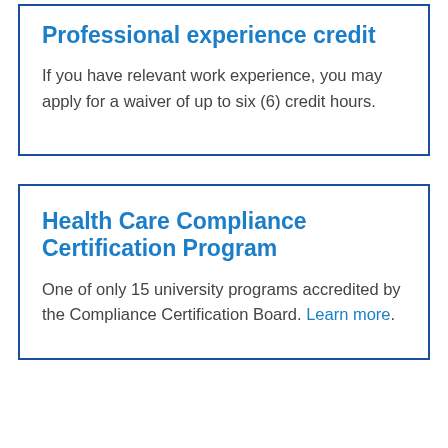Professional experience credit
If you have relevant work experience, you may apply for a waiver of up to six (6) credit hours.
Health Care Compliance Certification Program
One of only 15 university programs accredited by the Compliance Certification Board. Learn more.